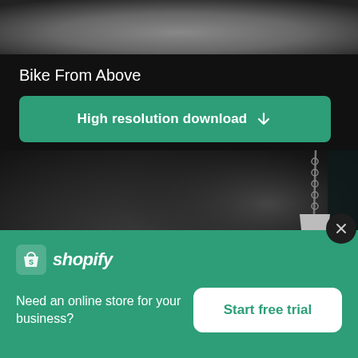[Figure (photo): Dark blurred photo visible at top, partial view]
Bike From Above
High resolution download ↓
[Figure (photo): Dark moody interior photo with pendant lamp hanging from chain on right side, dark grey textured wall]
×
[Figure (logo): Shopify logo with shopping bag icon and italic wordmark]
Need an online store for your business?
Start free trial